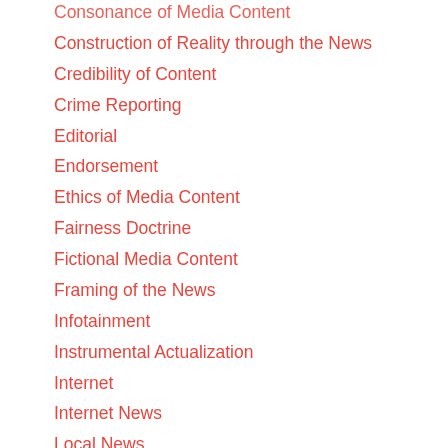Consonance of Media Content
Construction of Reality through the News
Credibility of Content
Crime Reporting
Editorial
Endorsement
Ethics of Media Content
Fairness Doctrine
Fictional Media Content
Framing of the News
Infotainment
Instrumental Actualization
Internet
Internet News
Local News
Magazine
Media Performance
Morality and Taste in Media Content